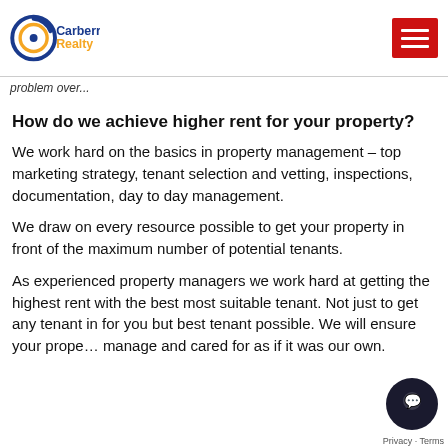Carberry Realty logo and navigation menu button
problem over...
How do we achieve higher rent for your property?
We work hard on the basics in property management – top marketing strategy, tenant selection and vetting, inspections, documentation, day to day management.
We draw on every resource possible to get your property in front of the maximum number of potential tenants.
As experienced property managers we work hard at getting the highest rent with the best most suitable tenant. Not just to get any tenant in for you but best tenant possible. We will ensure your prope... manage and cared for as if it was our own.
Privacy · Terms